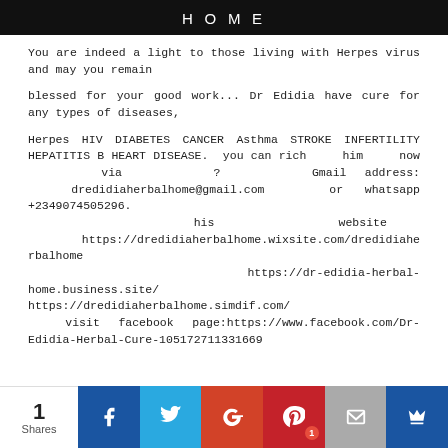HOME
You are indeed a light to those living with Herpes virus and may you remain
blessed for your good work... Dr Edidia have cure for any types of diseases,
Herpes HIV DIABETES CANCER Asthma STROKE INFERTILITY HEPATITIS B HEART DISEASE.  you can rich him now via ? Gmail address: dredidiaherbalhome@gmail.com or whatsapp +2349074505296.
 his website https://dredidiaherbalhome.wixsite.com/dredidiaherbalhome
https://dr-edidia-herbal-home.business.site/ https://dredidiaherbalhome.simdif.com/
 visit facebook page:https://www.facebook.com/Dr-Edidia-Herbal-Cure-105172711331669